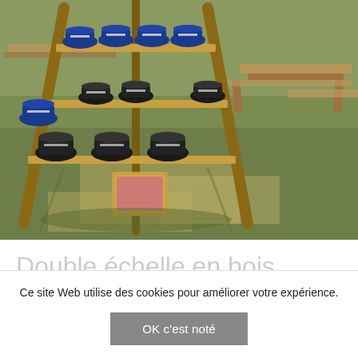[Figure (photo): Outdoor photo showing a wooden ladder-style hat display rack holding multiple blue and black fedora hats with white bands, set on a grassy field with wooden picnic tables in the background.]
Double échelle en bois
Ce site Web utilise des cookies pour améliorer votre expérience.
OK c'est noté